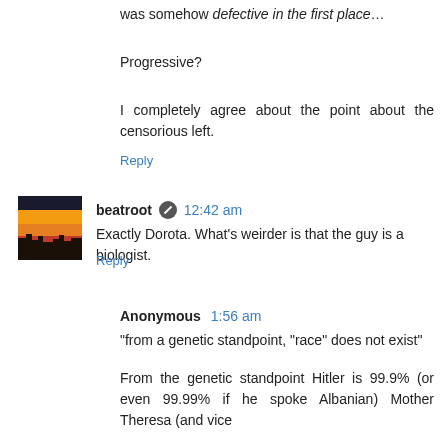was somehow defective in the first place…
Progressive?
I completely agree about the point about the censorious left.
Reply
beatroot 12:42 am
Exactly Dorota. What's weirder is that the guy is a biologist.
Reply
Anonymous 1:56 am
"from a genetic standpoint, "race" does not exist"
From the genetic standpoint Hitler is 99.9% (or even 99.99% if he spoke Albanian) Mother Theresa (and vice